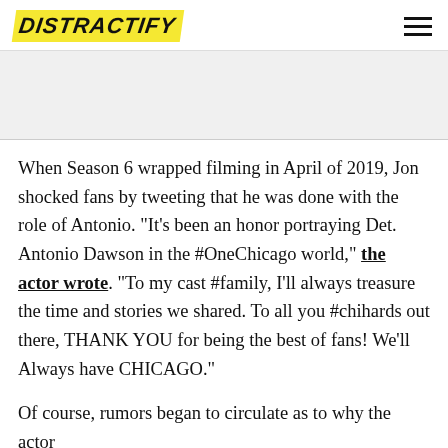DISTRACTIFY
When Season 6 wrapped filming in April of 2019, Jon shocked fans by tweeting that he was done with the role of Antonio. "It's been an honor portraying Det. Antonio Dawson in the #OneChicago world," the actor wrote. "To my cast #family, I'll always treasure the time and stories we shared. To all you #chihards out there, THANK YOU for being the best of fans! We'll Always have CHICAGO."
Of course, rumors began to circulate as to why the actor